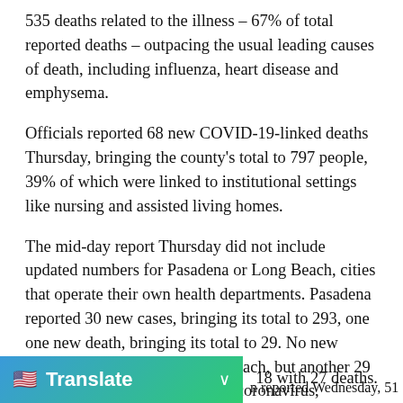535 deaths related to the illness – 67% of total reported deaths – outpacing the usual leading causes of death, including influenza, heart disease and emphysema.
Officials reported 68 new COVID-19-linked deaths Thursday, bringing the county's total to 797 people, 39% of which were linked to institutional settings like nursing and assisted living homes.
The mid-day report Thursday did not include updated numbers for Pasadena or Long Beach, cities that operate their own health departments. Pasadena reported 30 new cases, bringing its total to 293, one one new death, bringing its total to 29. No new deaths were reported in Long Beach, but another 29 residents tested positive for the coronavirus, bringing the city's total tally to 518 with 27 deaths.
n reported Wednesday, 51